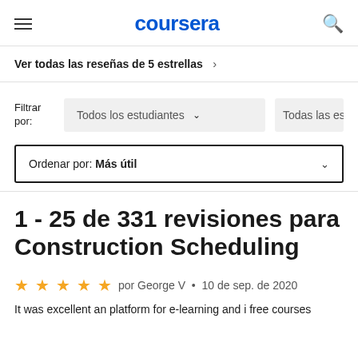coursera
Ver todas las reseñas de 5 estrellas ›
Filtrar por: Todos los estudiantes ∨   Todas las estr...
Ordenar por: Más útil ∨
1 - 25 de 331 revisiones para Construction Scheduling
★★★★★ por George V • 10 de sep. de 2020
It was excellent an platform for e-learning and i free courses